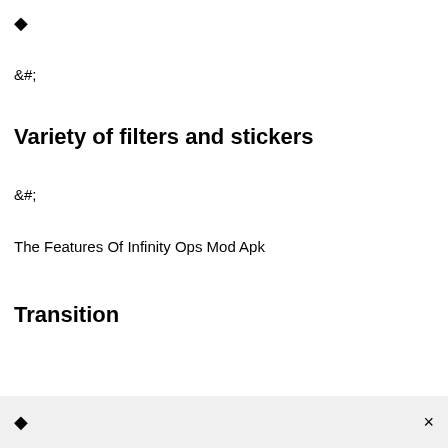🔷
&#;
Variety of filters and stickers
&#;
The Features Of Infinity Ops Mod Apk
Transition
🔷 ×